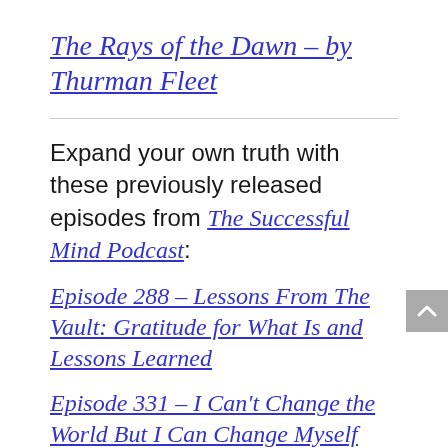The Rays of the Dawn – by Thurman Fleet
Expand your own truth with these previously released episodes from The Successful Mind Podcast:
Episode 288 – Lessons From The Vault: Gratitude for What Is and Lessons Learned
Episode 331 – I Can't Change the World But I Can Change Myself